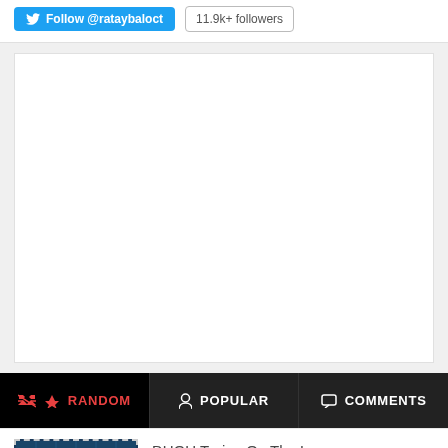[Figure (screenshot): Twitter Follow button for @rataybaloct with 11.9k+ followers badge]
[Figure (other): Advertisement block (white empty rectangle)]
RANDOM | POPULAR | COMMENTS
[Figure (photo): Thumbnail image of Duqu trojan article with dark circuit-board style image and label 'Duqu']
DUQU Trojan On The Loose
Unknown  6  Nov 14